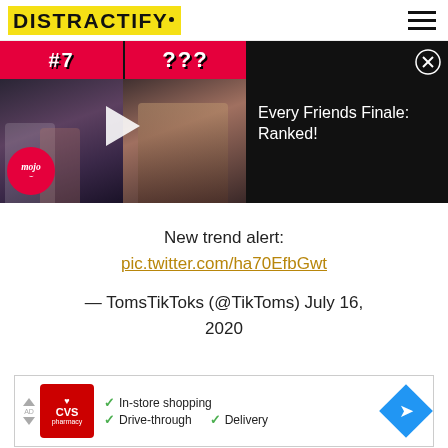DISTRACTIFY
[Figure (screenshot): Video thumbnail showing Friends TV show scenes with #7 and ??? rankings, WatchMojo style, with title 'Every Friends Finale: Ranked!']
New trend alert:
pic.twitter.com/ha70EfbGwt

— TomsTikToks (@TikToms) July 16, 2020
[Figure (screenshot): CVS Pharmacy advertisement banner showing In-store shopping, Drive-through, and Delivery options with navigation icon]